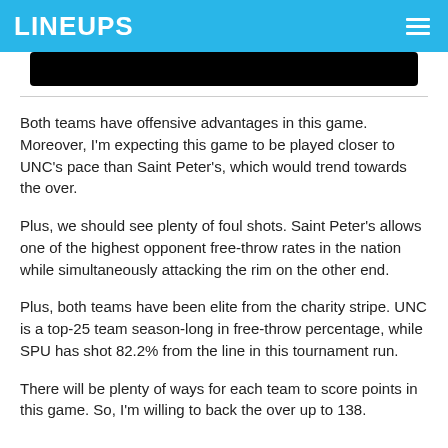LINEUPS
Both teams have offensive advantages in this game. Moreover, I'm expecting this game to be played closer to UNC's pace than Saint Peter's, which would trend towards the over.
Plus, we should see plenty of foul shots. Saint Peter's allows one of the highest opponent free-throw rates in the nation while simultaneously attacking the rim on the other end.
Plus, both teams have been elite from the charity stripe. UNC is a top-25 team season-long in free-throw percentage, while SPU has shot 82.2% from the line in this tournament run.
There will be plenty of ways for each team to score points in this game. So, I'm willing to back the over up to 138.